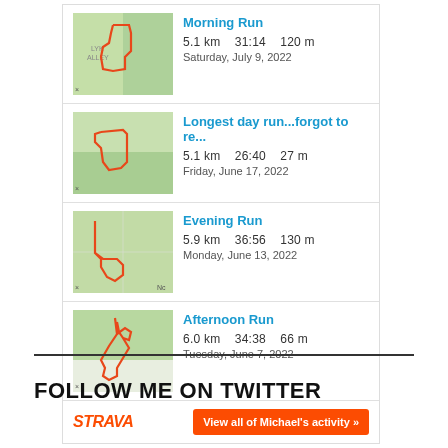[Figure (screenshot): Strava activity widget showing 4 running activities: Morning Run (5.1km, 31:14, 120m, Saturday July 9 2022), Longest day run...forgot to re... (5.1km, 26:40, 27m, Friday June 17 2022), Evening Run (5.9km, 36:56, 130m, Monday June 13 2022), Afternoon Run (6.0km, 34:38, 66m, Tuesday June 7 2022). Footer has Strava logo and 'View all of Michael's activity' button.]
FOLLOW ME ON TWITTER